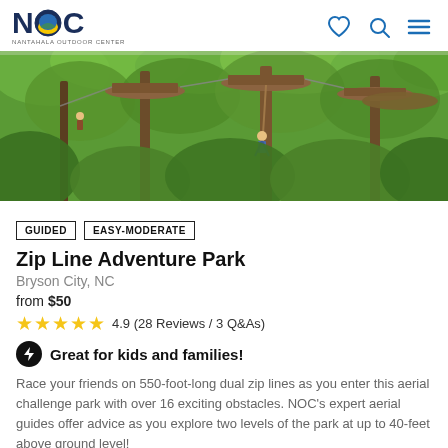NOC NANTAHALA OUTDOOR CENTER
[Figure (photo): Aerial photo of a zip line adventure park with tall trees, wooden platforms, and cables visible in a lush green forest canopy]
GUIDED
EASY-MODERATE
Zip Line Adventure Park
Bryson City, NC
from $50
4.9 (28 Reviews / 3 Q&As)
Great for kids and families!
Race your friends on 550-foot-long dual zip lines as you enter this aerial challenge park with over 16 exciting obstacles. NOC's expert aerial guides offer advice as you explore two levels of the park at up to 40-feet above ground level!